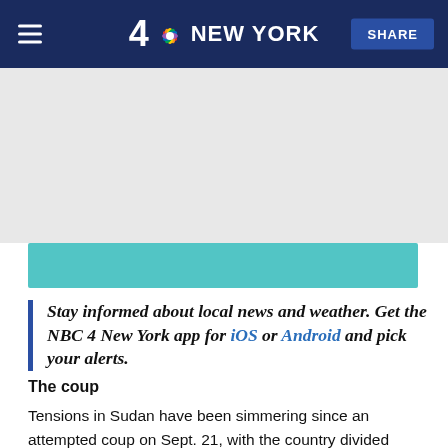4 NBC NEW YORK  |  SHARE
[Figure (other): Gray advertisement/placeholder area below header with a teal banner element]
Stay informed about local news and weather. Get the NBC 4 New York app for iOS or Android and pick your alerts.
The coup
Tensions in Sudan have been simmering since an attempted coup on Sept. 21, with the country divided between proponents of pro-military and pro-civilian rule.